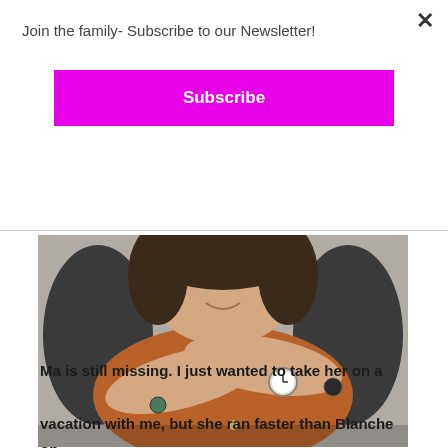Join the family- Subscribe to our Newsletter!
Subscribe
[Figure (photo): An elderly woman smiling, with her arms crossed, wearing a brown cardigan, a watch, and rings on her fingers.]
Ma is still missing. I just wanted to take her on a vacation with me, but she ran faster than Blanche on spring break. I guess I never should have told her that we were going to a resort when I took her to Shady